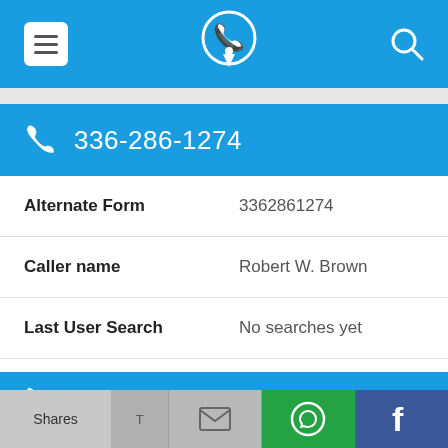[Figure (screenshot): Mobile app top navigation bar with hamburger menu icon, phone-pin logo icon, and search icon on blue background]
336-286-1274
| Alternate Form | 3362861274 |
| Caller name | Robert W. Brown |
| Last User Search | No searches yet |
| Comments | 0 |
336-286-1212
Shares